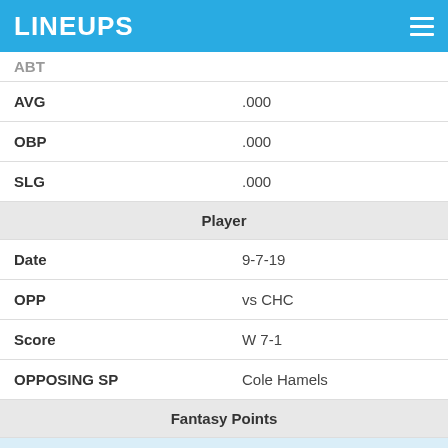LINEUPS
| Stat | Value |
| --- | --- |
| AVG | .000 |
| OBP | .000 |
| SLG | .000 |
| Player |  |
| Date | 9-7-19 |
| OPP | vs CHC |
| Score | W 7-1 |
| OPPOSING SP | Cole Hamels |
| Fantasy Points |  |
| FPTS | 0 |
| FPTS/AB | 0 |
| Offense |  |